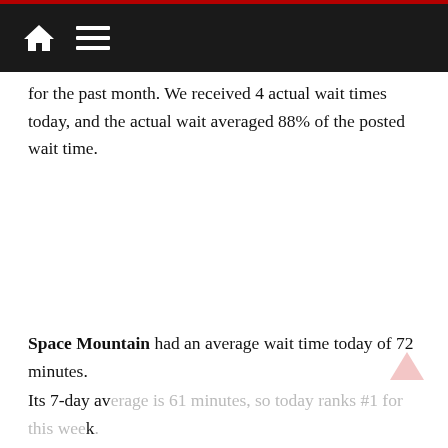Navigation bar with home icon and menu icon
for the past month. We received 4 actual wait times today, and the actual wait averaged 88% of the posted wait time.
Space Mountain had an average wait time today of 72 minutes. Its 7-day average is 61 minutes, so today ranks #1 for this week. Its 30-day average is 50 minutes, so today ranks #2 for the past month.